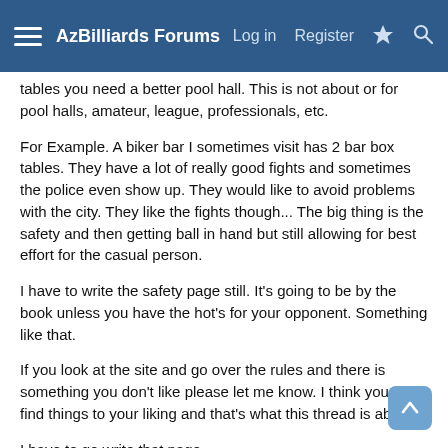AzBilliards Forums  Log in  Register
tables you need a better pool hall. This is not about or for pool halls, amateur, league, professionals, etc.
For Example. A biker bar I sometimes visit has 2 bar box tables. They have a lot of really good fights and sometimes the police even show up. They would like to avoid problems with the city. They like the fights though... The big thing is the safety and then getting ball in hand but still allowing for best effort for the casual person.
I have to write the safety page still. It's going to be by the book unless you have the hot's for your opponent. Something like that.
If you look at the site and go over the rules and there is something you don't like please let me know. I think you will find things to your liking and that's what this thread is about.
I have to go write that page.